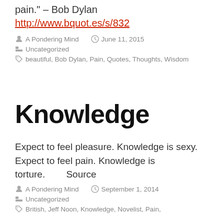pain." – Bob Dylan http://www.bquot.es/s/832
A Pondering Mind   June 11, 2015
Uncategorized
beautiful, Bob Dylan, Pain, Quotes, Thoughts, Wisdom
Knowledge
Expect to feel pleasure. Knowledge is sexy. Expect to feel pain. Knowledge is torture.        Source
A Pondering Mind   September 1, 2014
Uncategorized
British, Jeff Noon, Knowledge, Novelist, Pain,